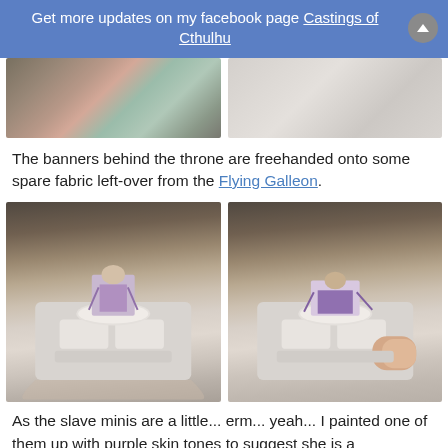Get more updates on my facebook page Castings of Cthulhu
[Figure (photo): Two photos side by side showing painted miniature details on a textured surface with green and red colors visible]
The banners behind the throne are freehanded onto some spare fabric left-over from the Flying Galleon.
[Figure (photo): Two photos side by side showing a painted slave miniature with purple skin tones on a round base, held in a clamp tool, front and back views]
As the slave minis are a little... erm... yeah... I painted one of them up with purple skin tones to suggest she is a Genestealer hybrid.